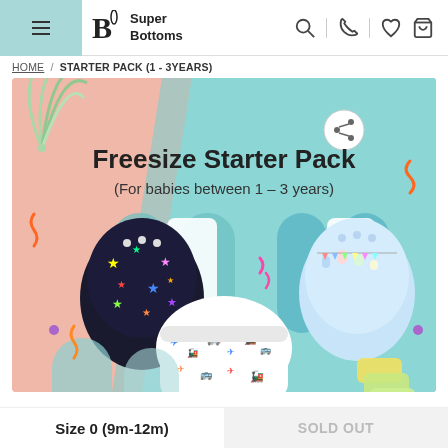SuperBottoms
HOME / STARTER PACK (1 - 3YEARS)
[Figure (photo): Freesize Starter Pack product image showing cloth diapers and training pants on a colorful pink and teal background with decorative elements. Text reads: Freesize Starter Pack (For babies between 1 – 3 years)]
Size 0 (9m-12m)
SOLD OUT